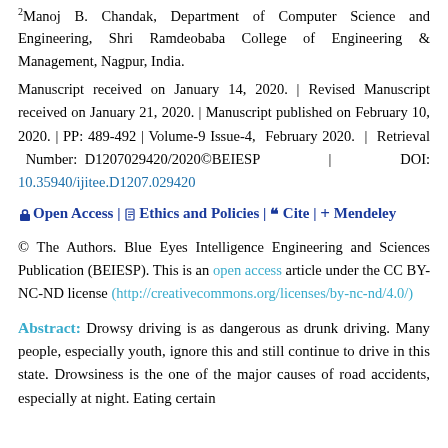2Manoj B. Chandak, Department of Computer Science and Engineering, Shri Ramdeobaba College of Engineering & Management, Nagpur, India.
Manuscript received on January 14, 2020. | Revised Manuscript received on January 21, 2020. | Manuscript published on February 10, 2020. | PP: 489-492 | Volume-9 Issue-4, February 2020. | Retrieval Number: D1207029420/2020©BEIESP | DOI: 10.35940/ijitee.D1207.029420
Open Access | Ethics and Policies | Cite | Mendeley
© The Authors. Blue Eyes Intelligence Engineering and Sciences Publication (BEIESP). This is an open access article under the CC BY-NC-ND license (http://creativecommons.org/licenses/by-nc-nd/4.0/)
Abstract: Drowsy driving is as dangerous as drunk driving. Many people, especially youth, ignore this and still continue to drive in this state. Drowsiness is the one of the major causes of road accidents, especially at night. Eating certain